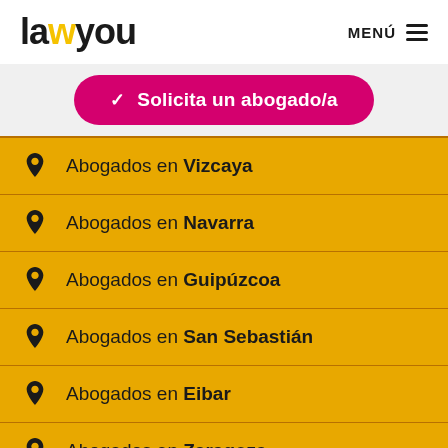lawyou — MENÚ
Solicita un abogado/a
Abogados en Vizcaya
Abogados en Navarra
Abogados en Guipúzcoa
Abogados en San Sebastián
Abogados en Eibar
Abogados en Zaragoza